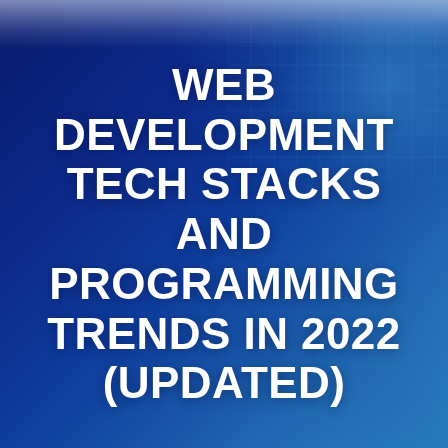WEB DEVELOPMENT TECH STACKS AND PROGRAMMING TRENDS IN 2022 (UPDATED)